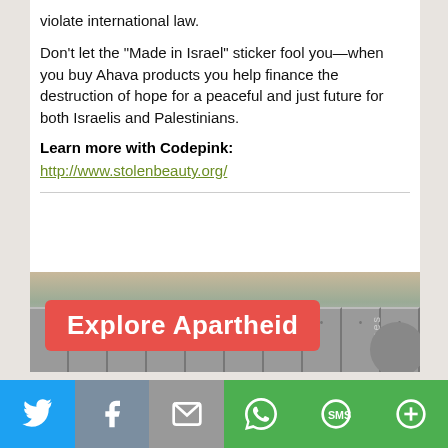violate international law.
Don’t let the “Made in Israel” sticker fool you—when you buy Ahava products you help finance the destruction of hope for a peaceful and just future for both Israelis and Palestinians.
Learn more with Codepink:
http://www.stolenbeauty.org/
[Figure (photo): Image showing a concrete separation wall with text overlay reading 'Explore Apartheid' on a red/salmon banner. The wall has grey concrete panels. Partial text 'lomes' visible at bottom right.]
[Figure (infographic): Social sharing bar with icons for Twitter (blue), Facebook (grey), Email (grey), WhatsApp (green), SMS (green), and More/share (green).]